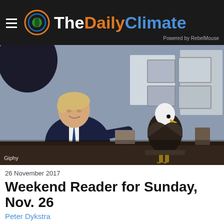The Daily Climate — Powered by RebelMouse
[Figure (photo): A man in a suit sitting at an office desk reaching toward a bald eagle perched on the desk. Office interior with framed pictures on the wall in the background. Photo credit: Giphy.]
26 November 2017
Weekend Reader for Sunday, Nov. 26
Peter Dykstra
News and opinion from Thanksgiving week...